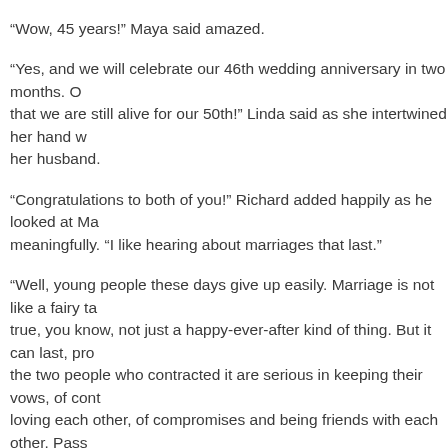“Wow, 45 years!” Maya said amazed.
“Yes, and we will celebrate our 46th wedding anniversary in two months. O… that we are still alive for our 50th!” Linda said as she intertwined her hand w… her husband.
“Congratulations to both of you!” Richard added happily as he looked at Ma… meaningfully. “I like hearing about marriages that last.”
“Well, young people these days give up easily. Marriage is not like a fairy ta… true, you know, not just a happy-ever-after kind of thing. But it can last, pro… the two people who contracted it are serious in keeping their vows, of cont… loving each other, of compromises and being friends with each other. Pass… in time so the there must really be more than that to sustain a marriage.” Er… explained, as his wife nodded in agreement. “But looking at you two, you lo… love also. I’m sure your relationship will last. Just keep the flames burning.”
“Oh, but we are not….” Maya started correcting Erik, but Richard stopped hi…